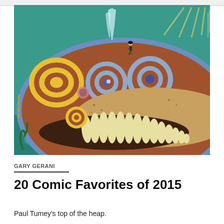[Figure (illustration): Colorful illustration of a giant cartoon sea creature (whale-like) with a huge open mouth full of teeth, spiral eyes, yellow swirling patterns on its brown body, a small human figure standing on top, and a teal ocean background with sunrays.]
GARY GERANI
20 Comic Favorites of 2015
Paul Tumey's top of the heap.